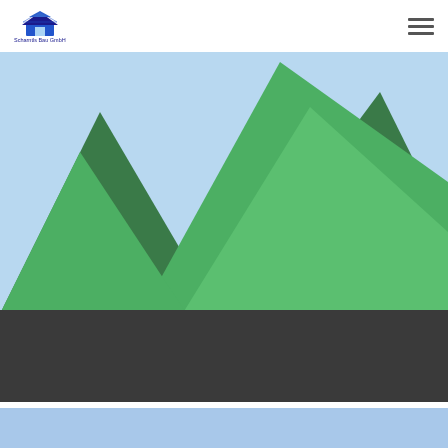Scharntls Bau GmbH
[Figure (illustration): Abstract geometric mountain/roof shapes in shades of green on a light blue background, forming a stylized landscape or roof silhouette. Large triangular green forms overlap each other.]
Portfolio Style 10